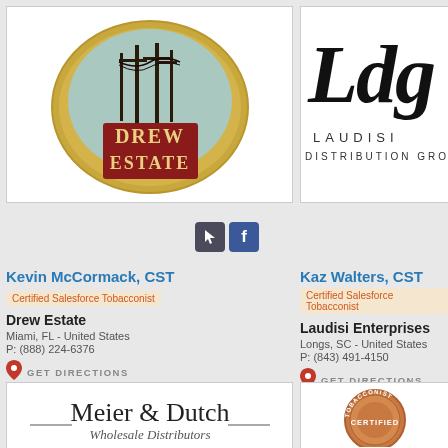[Figure (logo): Drew Estate circular logo with power lines silhouette and red vintage text]
[Figure (logo): LDG Laudisi Distribution Group logo in cursive script]
Kevin McCormack, CST
Certified Salesforce Tobacconist
Drew Estate
Miami, FL - United States
P: (888) 224-6376
GET DIRECTIONS
Kaz Walters, CST
Certified Salesforce Tobacconist
Laudisi Enterprises
Longs, SC - United States
P: (843) 491-4150
GET DIRECTIONS
[Figure (logo): Meier & Dutch Wholesale Distributors logo]
[Figure (logo): Tobacconist Certified copper coin/medallion logo]